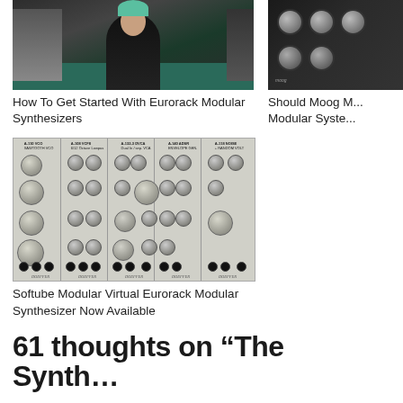[Figure (photo): Person with teal hair sitting in front of synthesizer equipment (Eurorack modular setup)]
How To Get Started With Eurorack Modular Synthesizers
[Figure (photo): Close-up of Moog modular synthesizer knobs and controls (partially cropped on right side)]
Should Moog M... Modular Syste...
[Figure (photo): Doepfer modular synthesizer panels showing VCO, VCF8, DVCA, ADSR, and NOISE modules with knobs and patch points]
Softube Modular Virtual Eurorack Modular Synthesizer Now Available
61 thoughts on “The Synth…